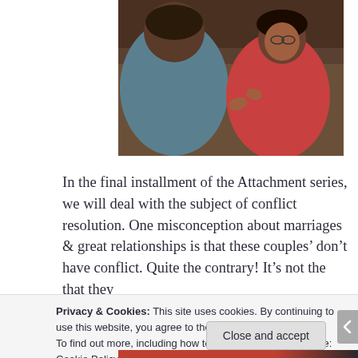[Figure (photo): Two people sitting on a couch having a conversation; one in a blue top (back to camera) and one in a red/coral dress facing forward, gesturing with hands.]
In the final installment of the Attachment series, we will deal with the subject of conflict resolution. One misconception about marriages & great relationships is that these couples’ don’t have conflict. Quite the contrary! It’s not the that they
Privacy & Cookies: This site uses cookies. By continuing to use this website, you agree to their use.
To find out more, including how to control cookies, see here: Cookie Policy
Close and accept